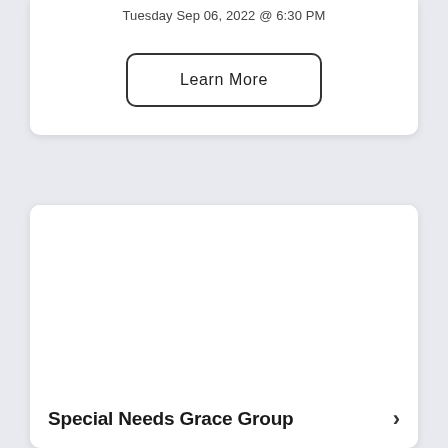Tuesday Sep 06, 2022 @ 6:30 PM
Learn More
[Figure (other): White image area placeholder inside a card]
Special Needs Grace Group